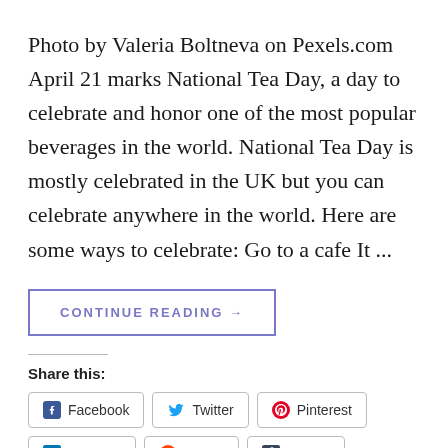Photo by Valeria Boltneva on Pexels.com April 21 marks National Tea Day, a day to celebrate and honor one of the most popular beverages in the world. National Tea Day is mostly celebrated in the UK but you can celebrate anywhere in the world. Here are some ways to celebrate: Go to a cafe It ...
CONTINUE READING →
Share this:
Facebook
Twitter
Pinterest
LinkedIn
Reddit
Tumblr